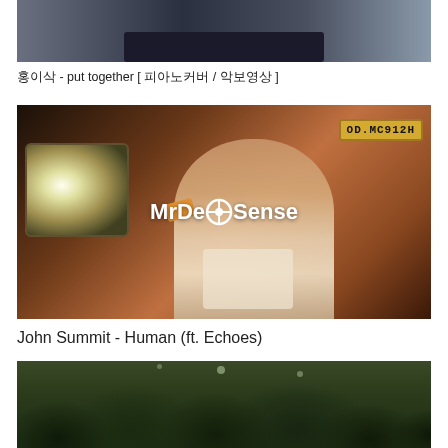[Figure (screenshot): Top thumbnail image showing a dark surface with hands, appears to be a music/video thumbnail]
홍이삭 - put together [ 피아노커버 / 악보영상 ]
[Figure (screenshot): Thumbnail image showing a young woman with reddish hair standing near a vintage car, with 'MrDeepSense' watermark overlay and license plate visible]
John Summit - Human (ft. Echoes)
[Figure (screenshot): Bottom partial thumbnail showing trees/forest from above, dark green foliage]